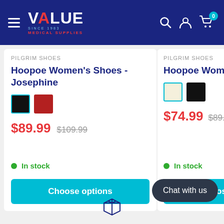[Figure (screenshot): Value Medical Supplies website header with logo, hamburger menu, search, account, and cart icons on dark blue background]
PILGRIM SHOES
Hoopoe Women's Shoes - Josephine
$89.99  $109.99
In stock
Choose options
PILGRIM SHOES
Hoopoe Women's Sh
$74.99  $89.99
In stock
Choose op
Chat with us